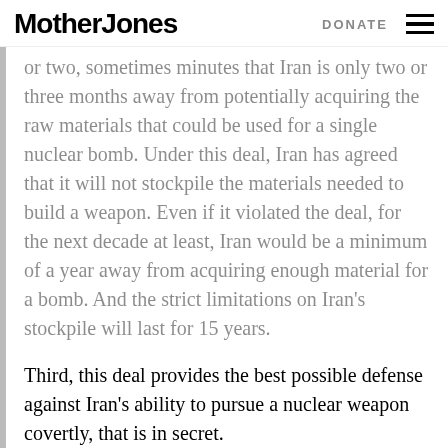Mother Jones   DONATE
…or two or three months away from potentially acquiring the raw materials that could be used for a single nuclear bomb. Under this deal, Iran has agreed that it will not stockpile the materials needed to build a weapon. Even if it violated the deal, for the next decade at least, Iran would be a minimum of a year away from acquiring enough material for a bomb. And the strict limitations on Iran's stockpile will last for 15 years.
Third, this deal provides the best possible defense against Iran's ability to pursue a nuclear weapon covertly, that is in secret.